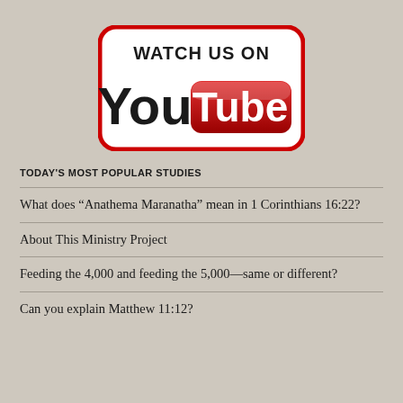[Figure (logo): YouTube logo badge with text 'WATCH US ON You Tube' in a rounded rectangle with red border and red YouTube pill badge]
TODAY'S MOST POPULAR STUDIES
What does “Anathema Maranatha” mean in 1 Corinthians 16:22?
About This Ministry Project
Feeding the 4,000 and feeding the 5,000—same or different?
Can you explain Matthew 11:12?